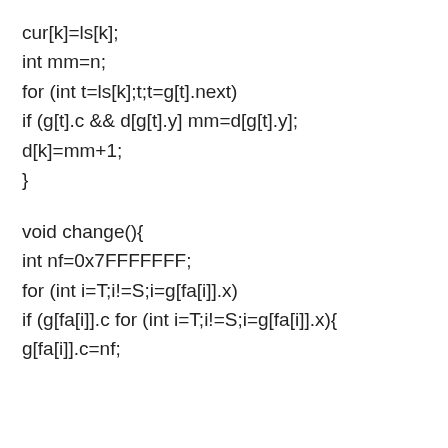cur[k]=ls[k];
int mm=n;
for (int t=ls[k];t;t=g[t].next)
if (g[t].c && d[g[t].y] mm=d[g[t].y];
d[k]=mm+1;
}
void change(){
int nf=0x7FFFFFFF;
for (int i=T;i!=S;i=g[fa[i]].x)
if (g[fa[i]].c for (int i=T;i!=S;i=g[fa[i]].x){
g[fa[i]].c=nf;